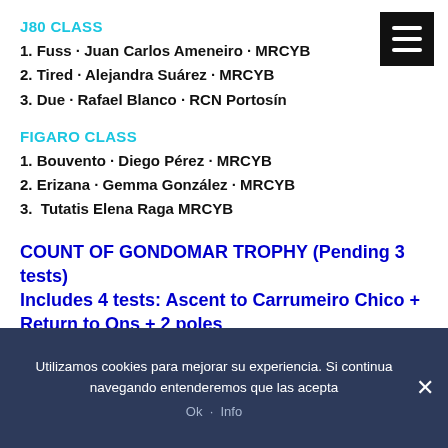J80 CLASS
1. Fuss · Juan Carlos Ameneiro · MRCYB
2. Tired · Alejandra Suárez · MRCYB
3. Due · Rafael Blanco · RCN Portosín
FIGARO CLASS
1. Bouvento · Diego Pérez · MRCYB
2. Erizana · Gemma González · MRCYB
3.  Tutatis Elena Raga MRCYB
COUNT OF GONDOMAR TROPHY (Pending 3 tests) Includes 4 tests: Ascent to Carrumeiro Chico + Return to Ons + 2 poles
PROVISIONAL LEADER (ORC + OPEN)
Utilizamos cookies para mejorar su experiencia. Si continua navegando entenderemos que las acepta
Ok · Info